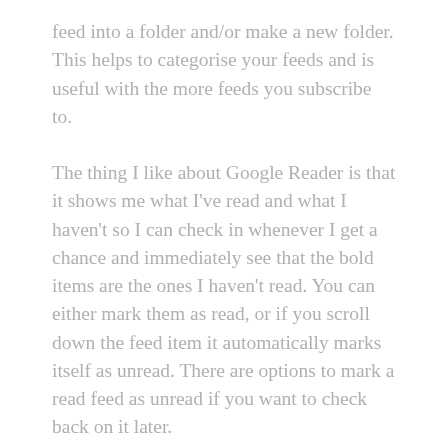feed into a folder and/or make a new folder. This helps to categorise your feeds and is useful with the more feeds you subscribe to.
The thing I like about Google Reader is that it shows me what I've read and what I haven't so I can check in whenever I get a chance and immediately see that the bold items are the ones I haven't read. You can either mark them as read, or if you scroll down the feed item it automatically marks itself as unread. There are options to mark a read feed as unread if you want to check back on it later.
It's also possible to select the little star to the left of each feed heading to bookmark it. I do this if I like a particular post and want to go back to it.